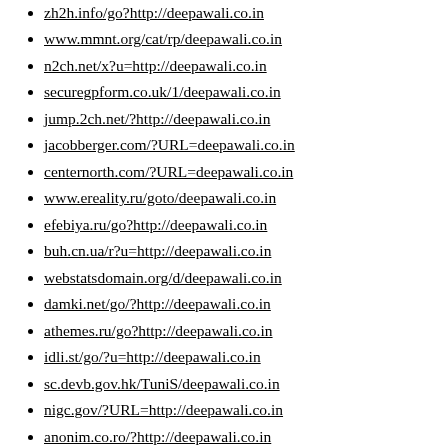zh2h.info/go?http://deepawali.co.in
www.mmnt.org/cat/rp/deepawali.co.in
n2ch.net/x?u=http://deepawali.co.in
securegpform.co.uk/1/deepawali.co.in
jump.2ch.net/?http://deepawali.co.in
jacobberger.com/?URL=deepawali.co.in
centernorth.com/?URL=deepawali.co.in
www.ereality.ru/goto/deepawali.co.in
efebiya.ru/go?http://deepawali.co.in
buh.cn.ua/r?u=http://deepawali.co.in
webstatsdomain.org/d/deepawali.co.in
damki.net/go/?http://deepawali.co.in
athemes.ru/go?http://deepawali.co.in
idli.st/go/?u=http://deepawali.co.in
sc.devb.gov.hk/TuniS/deepawali.co.in
nigc.gov/?URL=http://deepawali.co.in
anonim.co.ro/?http://deepawali.co.in
bios.edu/?URL=http://deepawali.co.in
www.heydogg.com/?URL=deepawali.co.in